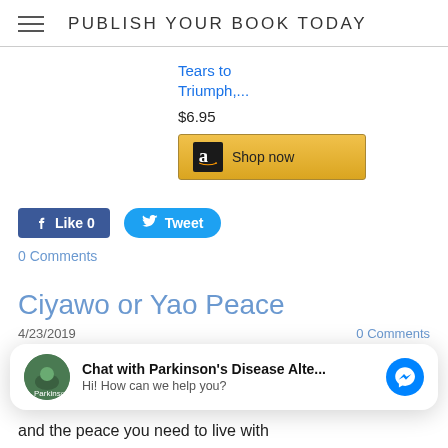PUBLISH YOUR BOOK TODAY
Tears to Triumph,...
$6.95
Shop now
Like 0   Tweet
0 Comments
Ciyawo or Yao Peace
4/23/2019   0 Comments
Chat with Parkinson's Disease Alte...
Hi! How can we help you?
and the peace you need to live with